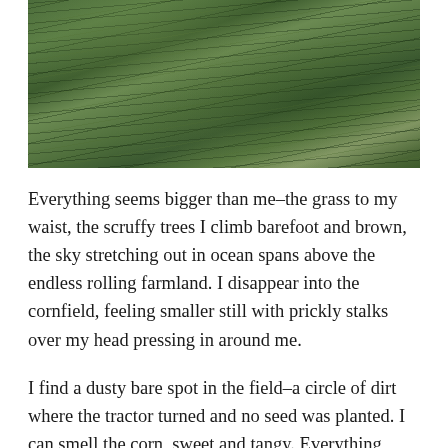[Figure (photo): Close-up photograph of green grassy field with tall thin grass stems and blurred green foliage in the background.]
Everything seems bigger than me–the grass to my waist, the scruffy trees I climb barefoot and brown, the sky stretching out in ocean spans above the endless rolling farmland. I disappear into the cornfield, feeling smaller still with prickly stalks over my head pressing in around me.
I find a dusty bare spot in the field–a circle of dirt where the tractor turned and no seed was planted. I can smell the corn, sweet and tangy. Everything smells green here–did you know green is a smell? I can